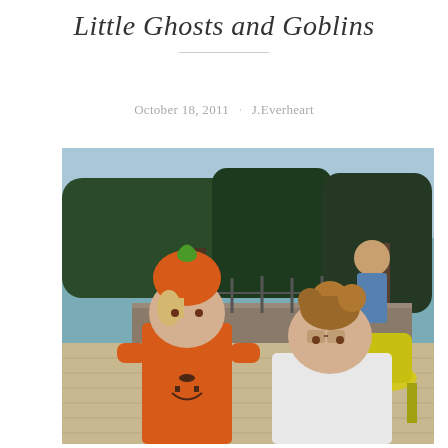Little Ghosts and Goblins
October 18, 2011 · J.Everheart
[Figure (photo): Two young children outdoors at what appears to be a Halloween event. The child on the left is dressed in an orange pumpkin/jack-o-lantern costume with a green-stemmed orange hat. The child on the right is wearing a white top with hair styled in pigtails, seated in a yellow chair. Trees and a stone wall are visible in the background.]